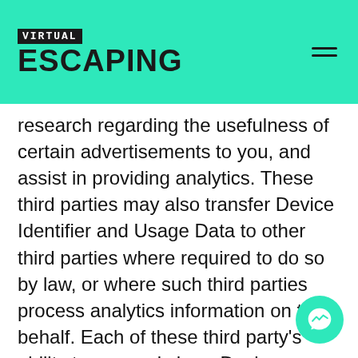VIRTUAL ESCAPING
research regarding the usefulness of certain advertisements to you, and assist in providing analytics. These third parties may also transfer Device Identifier and Usage Data to other third parties where required to do so by law, or where such third parties process analytics information on their behalf. Each of these third party's ability to use and share Device Identifier and Usage Data is restricted by their respective Terms of Use and Privacy Policy. By using our Websites, you consent to the processing of data about you by these third parties in the manner and for the